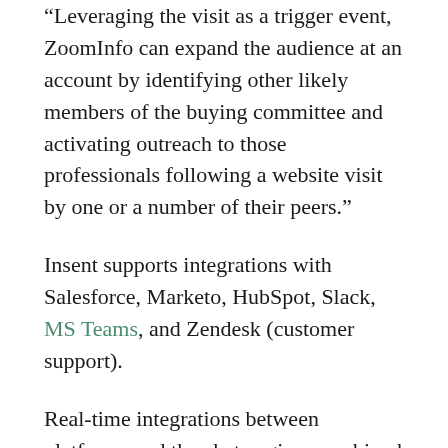“Leveraging the visit as a trigger event, ZoomInfo can expand the audience at an account by identifying other likely members of the buying committee and activating outreach to those professionals following a website visit by one or a number of their peers.”
Insent supports integrations with Salesforce, Marketo, HubSpot, Slack, MS Teams, and Zendesk (customer support).
Real-time integrations between platforms and the chat engine, combined with real-time reference data are key to this deal.  “Without tightly integrated, highly accurate data and timely insights, these systems are merely empty repositories that lack the intelligence